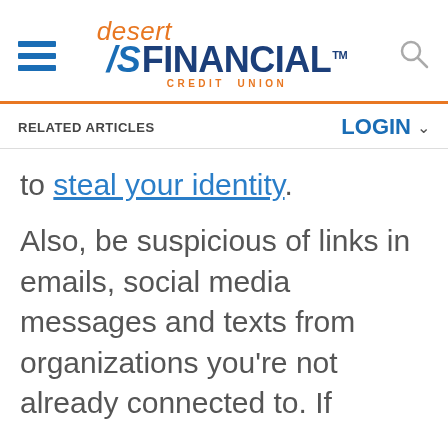desert FINANCIAL CREDIT UNION
RELATED ARTICLES
LOGIN
to steal your identity.
Also, be suspicious of links in emails, social media messages and texts from organizations you're not already connected to. If